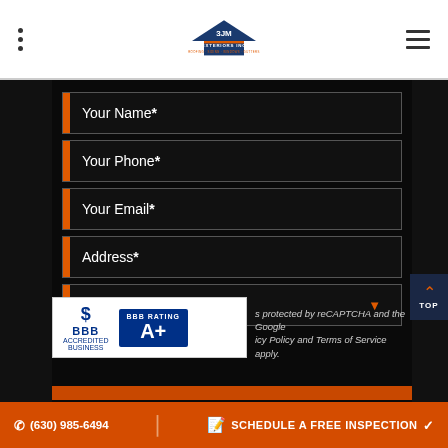[Figure (logo): 3JM Exteriors Inc logo with house/triangle shape in blue and orange]
Your Name *
Your Phone *
Your Email *
Address *
Interested In:
[Figure (logo): BBB Accredited Business logo with A+ rating]
s protected by reCAPTCHA and the Google icy Policy and Terms of Service apply.
TOP
(630) 985-6494
SCHEDULE A FREE INSPECTION